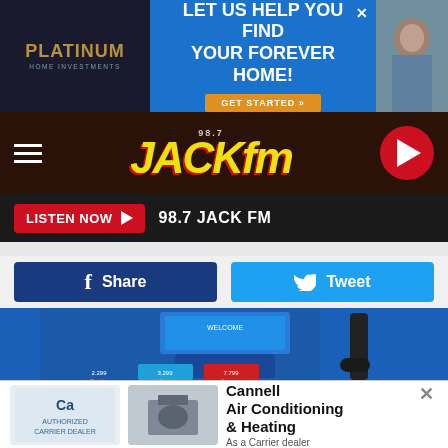[Figure (screenshot): Platinum Home Investments advertisement banner: 'LET US HELP YOU FIND YOUR FOREVER HOME!' with GET STARTED button]
[Figure (logo): 98.7 Jack FM radio station logo in navigation bar with hamburger menu and play button]
LISTEN NOW ▶ 98.7 JACK FM
Share
Tweet
[Figure (photo): Blue gas station pump with touch screen, keypad, card reader, and fuel nozzle. Buttons for Regular, Extra, Supreme fuel grades visible at bottom.]
[Figure (screenshot): Cannell Air Conditioning & Heating advertisement - As a Carrier dealer]